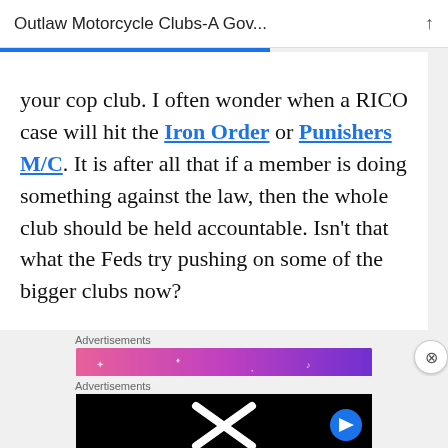Outlaw Motorcycle Clubs-A Gov...
your cop club. I often wonder when a RICO case will hit the Iron Order or Punishers M/C. It is after all that if a member is doing something against the law, then the whole club should be held accountable. Isn't that what the Feds try pushing on some of the bigger clubs now?
Advertisements
[Figure (illustration): Colorful advertisement banner with gradient pink-to-purple background featuring cartoon stickers including a sailboat, skull, dice, and decorative elements with stars and dots]
Advertisements
[Figure (screenshot): Black advertisement banner with a large white X logo in the center and a play button on the right side]